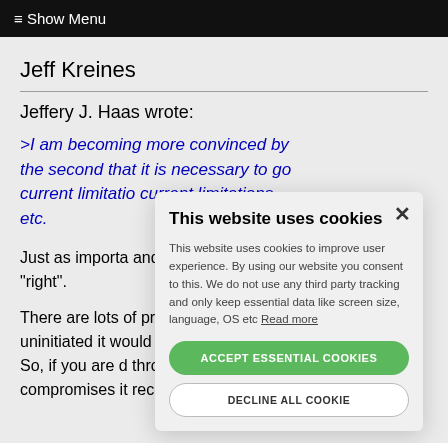≡ Show Menu
Jeff Kreines
Jeffery J. Haas wrote:
>I am becoming more convinced by the second that it is necessary to go current limitations etc.
Just as importa and for all -- that even "right".
There are lots of processing and uninitiated it would guaranteed to do. So, if you are d through one, just compromises it recover the original.
This website uses cookies

This website uses cookies to improve user experience. By using our website you consent to this. We do not use any third party tracking and only keep essential data like screen size, language, OS etc Read more

ACCEPT ESSENTIAL COOKIES

DECLINE ALL COOKIE